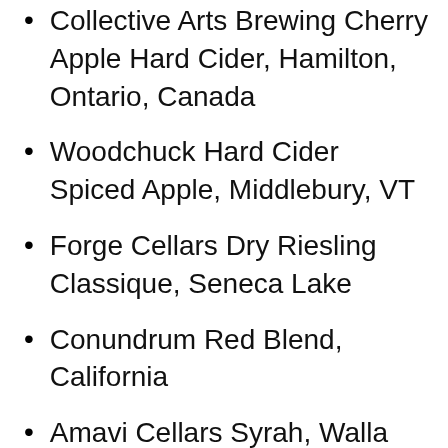Collective Arts Brewing Cherry Apple Hard Cider, Hamilton, Ontario, Canada
Woodchuck Hard Cider Spiced Apple, Middlebury, VT
Forge Cellars Dry Riesling Classique, Seneca Lake
Conundrum Red Blend, California
Amavi Cellars Syrah, Walla Walla Valley
tenshən Rhône Style White Blend, Central Coast
Lang & Reed Wine Company Cabernet Franc, North Coast
[Figure (infographic): Advertisement banner: Wash Your Hands Often, with colorful hand-washing graphic panels on black background]